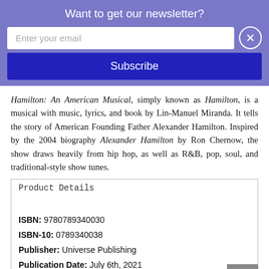Want to get our newsletter?
Enter your email
Subscribe
Hamilton: An American Musical, simply known as Hamilton, is a musical with music, lyrics, and book by Lin-Manuel Miranda. It tells the story of American Founding Father Alexander Hamilton. Inspired by the 2004 biography Alexander Hamilton by Ron Chernow, the show draws heavily from hip hop, as well as R&B, pop, soul, and traditional-style show tunes.
Product Details
ISBN: 9780789340030
ISBN-10: 0789340038
Publisher: Universe Publishing
Publication Date: July 6th, 2021
Pages: 320